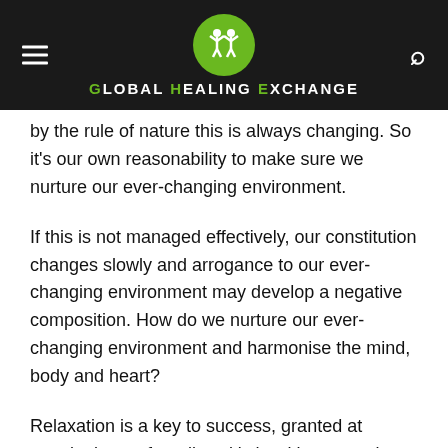Global Healing Exchange
by the rule of nature this is always changing. So it's our own reasonability to make sure we nurture our ever-changing environment.
If this is not managed effectively, our constitution changes slowly and arrogance to our ever-changing environment may develop a negative composition. How do we nurture our ever-changing environment and harmonise the mind, body and heart?
Relaxation is a key to success, granted at certain times of our lives it's hard but sometimes even the smallest relaxation techniques such as a breathing exercise will invigorate our nervous system and